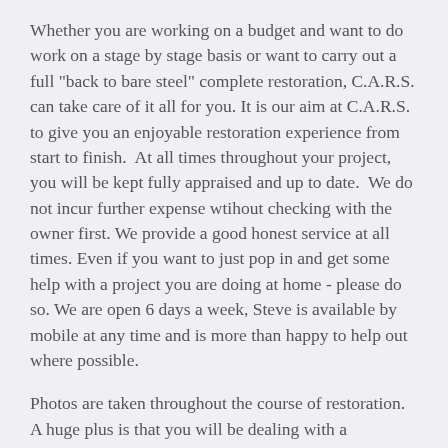Whether you are working on a budget and want to do work on a stage by stage basis or want to carry out a full "back to bare steel" complete restoration, C.A.R.S. can take care of it all for you. It is our aim at C.A.R.S. to give you an enjoyable restoration experience from start to finish.  At all times throughout your project, you will be kept fully appraised and up to date.  We do not incur further expense wtihout checking with the owner first. We provide a good honest service at all times. Even if you want to just pop in and get some help with a project you are doing at home - please do so. We are open 6 days a week, Steve is available by mobile at any time and is more than happy to help out where possible.
Photos are taken throughout the course of restoration.  A huge plus is that you will be dealing with a panelbeater who knows what he is talking about - not a sales rep!  We welcome customer involvement throughout the project.  No job is too big or too small for our dedicated attention.